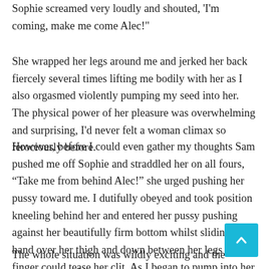Sophie screamed very loudly and shouted, 'I'm coming, make me come Alec!'
She wrapped her legs around me and jerked her back fiercely several times lifting me bodily with her as I also orgasmed violently pumping my seed into her. The physical power of her pleasure was overwhelming and surprising, I'd never felt a woman climax so ferociously before.
However, before I could even gather my thoughts Sam pushed me off Sophie and straddled her on all fours, “Take me from behind Alec!” she urged pushing her pussy toward me. I dutifully obeyed and took position kneeling behind her and entered her pussy pushing against her beautifully firm bottom whilst sliding my hand over her thigh and down between her legs so my finger could tease her clit. As I began to pump into her I saw Sam and Sophie kissing again with real passion and I saw Sam’s hand was teasing Sophie’s clit in time with my thrusts into her.
The whole situation was wildly exciting and the extreme sensations